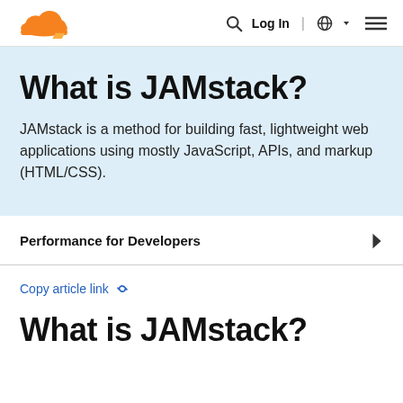Cloudflare | Log In | Globe | Menu
What is JAMstack?
JAMstack is a method for building fast, lightweight web applications using mostly JavaScript, APIs, and markup (HTML/CSS).
Performance for Developers
Copy article link
What is JAMstack?